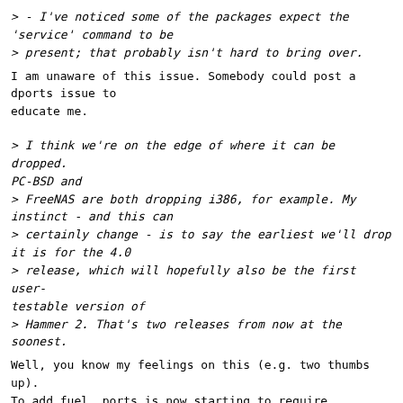> - I've noticed some of the packages expect the 'service' command to be
> present; that probably isn't hard to bring over.
I am unaware of this issue.  Somebody could post a dports issue to
educate me.
> I think we're on the edge of where it can be dropped. PC-BSD and
> FreeNAS are both dropping i386, for example.  My instinct - and this can
> certainly change - is to say the earliest we'll drop it is for the 4.0
> release, which will hopefully also be the first user-testable version of
> Hammer 2.  That's two releases from now at the soonest.
Well, you know my feelings on this (e.g. two thumbs up).
To add fuel, ports is now starting to require NEW_XORG. For example,
KDE4 no longer installs on i386 as of this week due to KDE4-workspace
and it's dependencies requiring new org.  So to keep i386 means to add
support NEW_XORG.